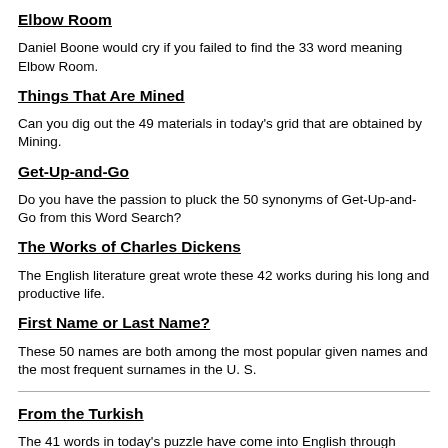Elbow Room
Daniel Boone would cry if you failed to find the 33 word meaning Elbow Room.
Things That Are Mined
Can you dig out the 49 materials in today's grid that are obtained by Mining.
Get-Up-and-Go
Do you have the passion to pluck the 50 synonyms of Get-Up-and-Go from this Word Search?
The Works of Charles Dickens
The English literature great wrote these 42 works during his long and productive life.
First Name or Last Name?
These 50 names are both among the most popular given names and the most frequent surnames in the U. S.
From the Turkish
The 41 words in today's puzzle have come into English through Turkish.
Canals of the World